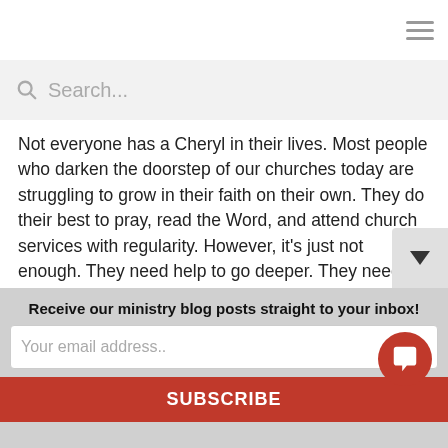[Figure (screenshot): Navigation hamburger menu icon (three horizontal lines) in top right corner]
[Figure (screenshot): Search bar with magnifying glass icon and placeholder text 'Search...']
Not everyone has a Cheryl in their lives.  Most people who darken the doorstep of our churches today are struggling to grow in their faith on their own.  They do their best to pray, read the Word, and attend church services with regularity.  However, it’s just not enough.  They need help to go deeper.  They need people to come alongside them and guide them in their efforts to be a more faithful disciple.
ACS Technologies has developed a ministry guide to h... pastors and other church leaders work with each indiv...
Receive our ministry blog posts straight to your inbox!
Your email address..
SUBSCRIBE